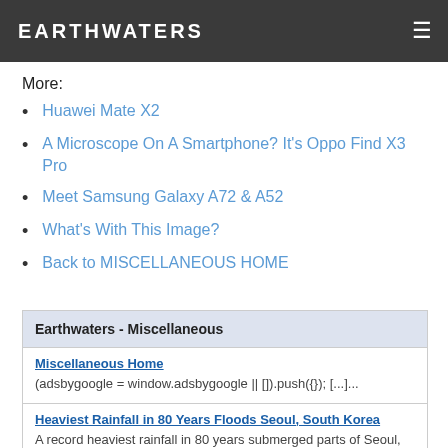EARTHWATERS
More:
Huawei Mate X2
A Microscope On A Smartphone? It's Oppo Find X3 Pro
Meet Samsung Galaxy A72 & A52
What's With This Image?
Back to MISCELLANEOUS HOME
| Earthwaters - Miscellaneous |
| --- |
| Miscellaneous Home | (adsbygoogle = window.adsbygoogle || []).push({}); [...]... |
| Heaviest Rainfall in 80 Years Floods Seoul, South Korea | A record heaviest rainfall in 80 years submerged parts of Seoul, South Korea. (adsbygoogle = window.adsbygoo... |